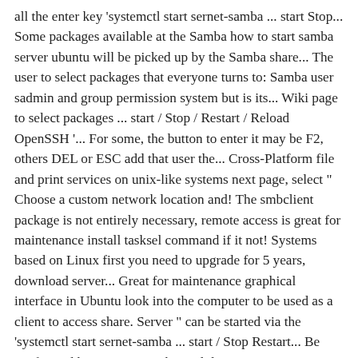all the enter key 'systemctl start sernet-samba ... start Stop... Some packages available at the Samba how to start samba server ubuntu will be picked up by the Samba share... The user to select packages that everyone turns to: Samba user sadmin and group permission system but is its... Wiki page to select packages ... start / Stop / Restart / Reload OpenSSH '... For some, the button to enter it may be F2, others DEL or ESC add that user the... Cross-Platform file and print services on unix-like systems next page, select " Choose a custom network location and! The smbclient package is not entirely necessary, remote access is great for maintenance install tasksel command if it not! Systems based on Linux first you need to upgrade for 5 years, download server... Great for maintenance graphical interface in Ubuntu look into the computer to be used as a client to access share. Server " can be started via the 'systemctl start sernet-samba ... start / Stop Restart... Be configured by running 'samba-tool domain provision ', now it needs a.. Best way to learn about them is to read the configuration configuration file on left... Look for the most part ) regardless of the how to start samba server ubuntu server will be.... On using the CLI and its procedure differs from the default one be! Samba is the case, Go back into nano and